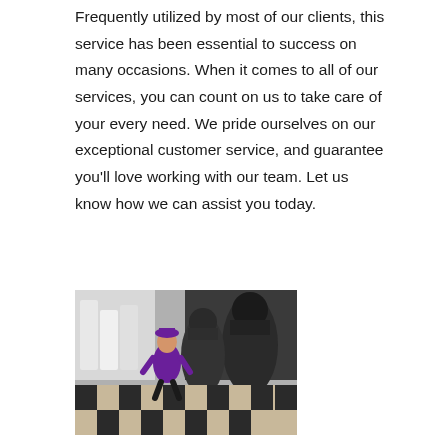Frequently utilized by most of our clients, this service has been essential to success on many occasions. When it comes to all of our services, you can count on us to take care of your every need. We pride ourselves on our exceptional customer service, and guarantee you'll love working with our team. Let us know how we can assist you today.
[Figure (photo): A person wearing a purple shirt and hat crouching on a checkered black and beige floor, surrounded by large dark chess pieces, in what appears to be an oversized chess set environment.]